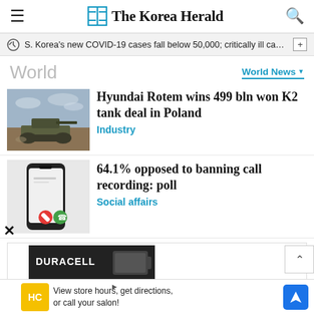The Korea Herald
S. Korea's new COVID-19 cases fall below 50,000; critically ill case…
World
World News
Hyundai Rotem wins 499 bln won K2 tank deal in Poland
Industry
64.1% opposed to banning call recording: poll
Social affairs
[Figure (photo): Advertisement area showing Duracell battery product]
View store hours, get directions, or call your salon!